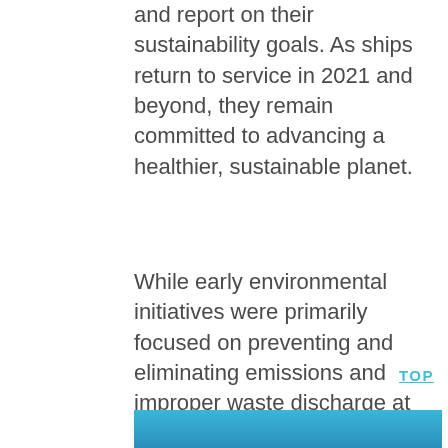and report on their sustainability goals. As ships return to service in 2021 and beyond, they remain committed to advancing a healthier, sustainable planet.
While early environmental initiatives were primarily focused on preventing and eliminating emissions and improper waste discharge at sea, cruise lines are now looking deeper into operations to eliminate waste, plastics, and excess packaging. In addition, they are committed to sourcing products locally or over shorter supply chains, and are working with destinations to encourage responsible tourism.
TOP
[Figure (photo): Blue ocean/water image at the bottom of the page]